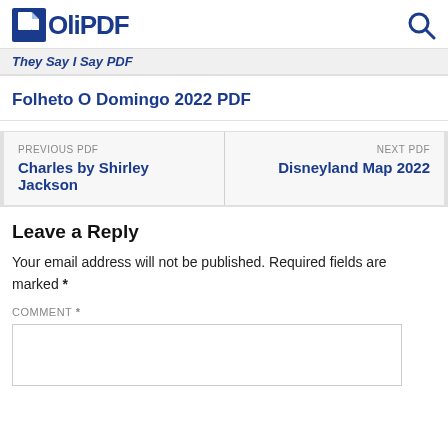OliPDF
They Say I Say PDF
Folheto O Domingo 2022 PDF
PREVIOUS PDF
Charles by Shirley Jackson
NEXT PDF
Disneyland Map 2022
Leave a Reply
Your email address will not be published. Required fields are marked *
COMMENT *